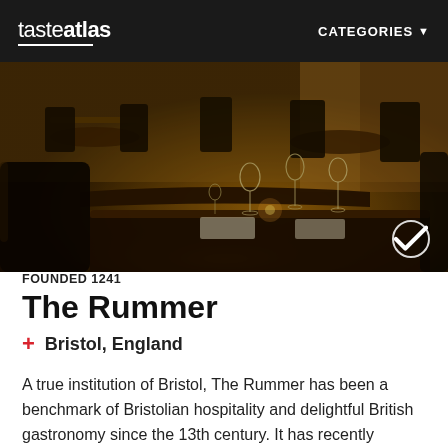tasteatlas   CATEGORIES
[Figure (photo): Interior of The Rummer restaurant showing dark wood furniture, set tables with wine glasses and place settings, warm amber lighting]
FOUNDED 1241
The Rummer
Bristol, England
A true institution of Bristol, The Rummer has been a benchmark of Bristolian hospitality and delightful British gastronomy since the 13th century. It has recently become the pioneer of the Bristol cocktail